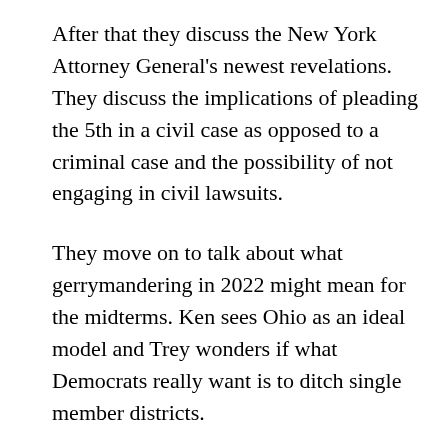After that they discuss the New York Attorney General's newest revelations. They discuss the implications of pleading the 5th in a civil case as opposed to a criminal case and the possibility of not engaging in civil lawsuits.
They move on to talk about what gerrymandering in 2022 might mean for the midterms. Ken sees Ohio as an ideal model and Trey wonders if what Democrats really want is to ditch single member districts.
Up last is a discussion about Biden's polling, what polling predicts about the midterm elections, and why and when his numbers hit bottom.